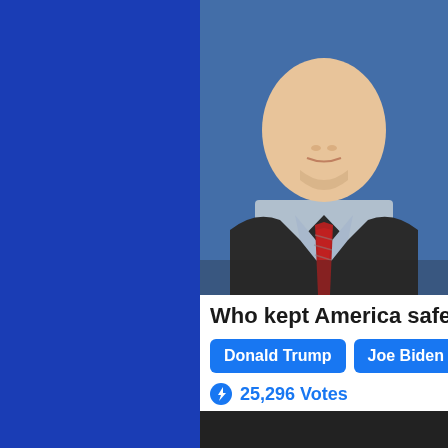[Figure (photo): Left blue panel background]
[Figure (photo): Portrait photo of a man in dark suit and red striped tie against blue background, cropped from chin/mouth to torso]
Who kept America safer?
Donald Trump   Joe Biden
25,296 Votes
[Figure (photo): Dark photo at bottom, partially visible circular portrait element]